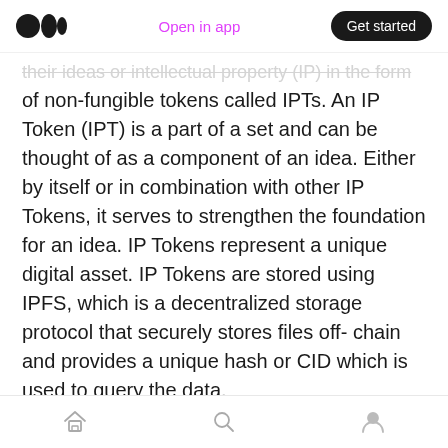Medium app header — Open in app | Get started
their ideas or intellectual property (IP) in the form of non-fungible tokens called IPTs. An IP Token (IPT) is a part of a set and can be thought of as a component of an idea. Either by itself or in combination with other IP Tokens, it serves to strengthen the foundation for an idea. IP Tokens represent a unique digital asset. IP Tokens are stored using IPFS, which is a decentralized storage protocol that securely stores files off-chain and provides a unique hash or CID which is used to query the data.
5.4. Intellectual Property Ownership. Intellectual
Home | Search | Profile